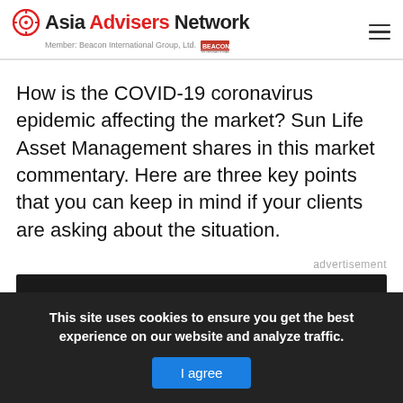Asia Advisers Network — Member: Beacon International Group, Ltd.
How is the COVID-19 coronavirus epidemic affecting the market? Sun Life Asset Management shares in this market commentary. Here are three key points that you can keep in mind if your clients are asking about the situation.
advertisement
[Figure (photo): Dark image strip at bottom of page, partially visible advertisement photo]
This site uses cookies to ensure you get the best experience on our website and analyze traffic. I agree